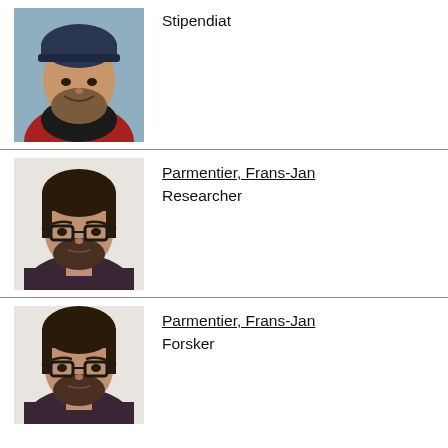[Figure (photo): Headshot of a young bearded man wearing a dark beanie hat and red jacket, outdoors with a blueish background]
Stipendiat
[Figure (photo): Headshot of Frans-Jan Parmentier, a man with dark hair, beard, and glasses, wearing a dark patterned shirt, against a light background]
Parmentier, Frans-Jan
Researcher
[Figure (photo): Headshot of Frans-Jan Parmentier, same person as above, partially cropped at bottom of page]
Parmentier, Frans-Jan
Forsker